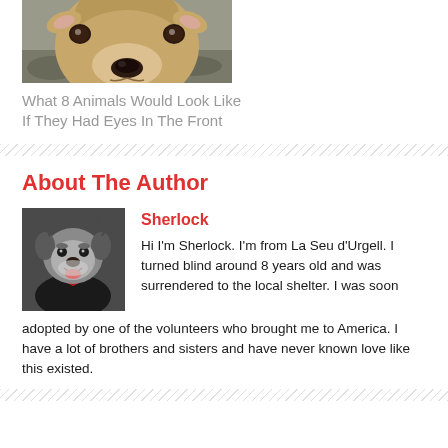[Figure (photo): Close-up photo of a deer face looking at the camera, with dark eyes on the sides, brown fur, and a black nose. Background is blurred outdoor scenery.]
What 8 Animals Would Look Like If They Had Eyes In The Front
About The Author
[Figure (photo): Photo of a Schnauzer dog wearing a bow tie, smiling with tongue out.]
Sherlock
Hi I'm Sherlock. I'm from La Seu d'Urgell. I turned blind around 8 years old and was surrendered to the local shelter. I was soon adopted by one of the volunteers who brought me to America. I have a lot of brothers and sisters and have never known love like this existed.